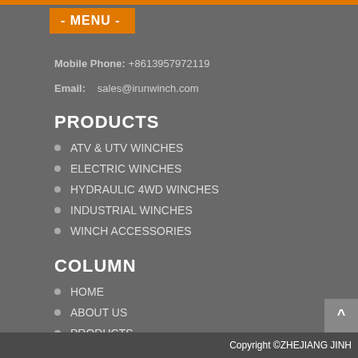- MENU -
Mobile Phone: +8613957972119
Email:   sales@irunwinch.com
PRODUCTS
ATV & UTV WINCHES
ELECTRIC WINCHES
HYDRAULIC 4WD WINCHES
INDUSTRIAL WINCHES
WINCH ACCESSORIES
COLUMN
HOME
ABOUT US
PRODUCTS
FACTORY SHOW
CONTACT
Copyright ©ZHEJIANG JINH